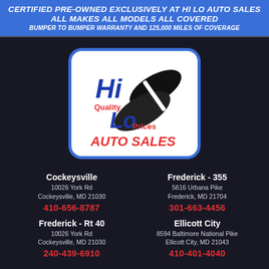CERTIFIED PRE-OWNED EXCLUSIVELY AT HI LO AUTO SALES ALL MAKES ALL MODELS ALL COVERED BUMPER TO BUMPER WARRANTY AND 125,000 MILES OF COVERAGE
[Figure (logo): Hi Lo Auto Sales logo with 'Hi Quality Lo Prices AUTO SALES' text and road/tire graphic on white rounded rectangle with blue border]
Cockeysville
10026 York Rd
Cockeysville, MD 21030
410-656-8787
Frederick - 355
5616 Urbana Pike
Frederick, MD 21704
301-663-4456
Frederick - Rt 40
10026 York Rd
Cockeysville, MD 21030
240-439-6910
Ellicott City
8594 Baltimore National Pike
Ellicott City, MD 21043
410-401-4040